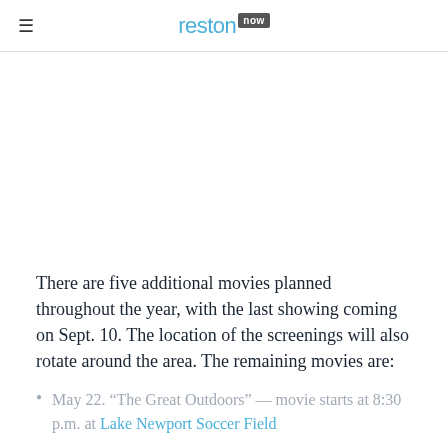reston now
There are five additional movies planned throughout the year, with the last showing coming on Sept. 10. The location of the screenings will also rotate around the area. The remaining movies are:
May 22. “The Great Outdoors” — movie starts at 8:30 p.m. at Lake Newport Soccer Field